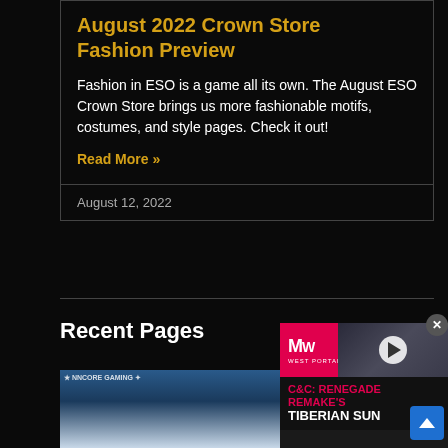August 2022 Crown Store Fashion Preview
Fashion in ESO is a game all its own. The August ESO Crown Store brings us more fashionable motifs, costumes, and style pages. Check it out!
Read More »
August 12, 2022
Recent Pages
[Figure (screenshot): Game screenshot showing a fantasy landscape with cliffs and water, with a gaming site logo overlay]
[Figure (screenshot): Advertisement panel for C&C: Renegade Remake's Tiberian Sun with MW logo and play button, soldiers in background]